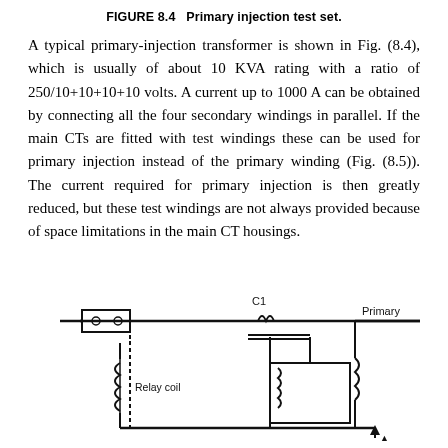FIGURE 8.4  Primary injection test set.
A typical primary-injection transformer is shown in Fig. (8.4), which is usually of about 10 KVA rating with a ratio of 250/10+10+10+10 volts. A current up to 1000 A can be obtained by connecting all the four secondary windings in parallel. If the main CTs are fitted with test windings these can be used for primary injection instead of the primary winding (Fig. (8.5)). The current required for primary injection is then greatly reduced, but these test windings are not always provided because of space limitations in the main CT housings.
[Figure (engineering-diagram): Circuit diagram showing a primary injection test set with a switch/fuse on the left connected via a horizontal bus bar to a CT (current transformer) labeled C1. Below the bus bar is a relay coil on the left side, connected to a transformer core with secondary windings, and a separate coil on the right. The primary line runs horizontally to the right labeled 'Primary'. An arrow points upward at the bottom right.]